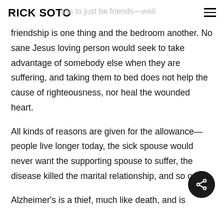RICK SOTO
aim to just be friends—well friendship is one thing and the bedroom another. No sane Jesus loving person would seek to take advantage of somebody else when they are suffering, and taking them to bed does not help the cause of righteousness, nor heal the wounded heart.
All kinds of reasons are given for the allowance—people live longer today, the sick spouse would never want the supporting spouse to suffer, the disease killed the marital relationship, and so on.
Alzheimer's is a thief, much like death, and is